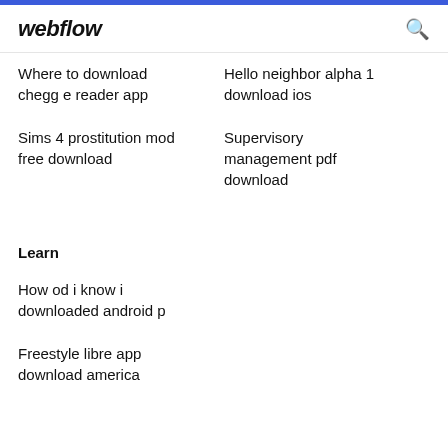webflow
Where to download chegg e reader app
Hello neighbor alpha 1 download ios
Sims 4 prostitution mod free download
Supervisory management pdf download
Learn
How od i know i downloaded android p
Freestyle libre app download america